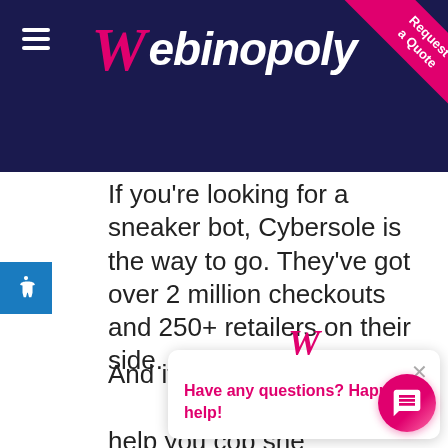[Figure (logo): Webinopoly logo with pink stylized W and white italic text on dark navy background, with hamburger menu icon on left and 'Request a Quote' pink ribbon on top right corner]
If you're looking for a sneaker bot, Cybersole is the way to go. They've got over 2 million checkouts and 250+ retailers on their side.
And if you're loo... help you cop sne... host their stores... AIO is one of your best options. It has features such as a mobile app for remote control and a captcha solver that's designed not to fail. It also has a
[Figure (screenshot): Chat popup widget showing Webinopoly logo and text 'Have any questions? Happy to help!' with X close button, and a pink chat bubble button in bottom right]